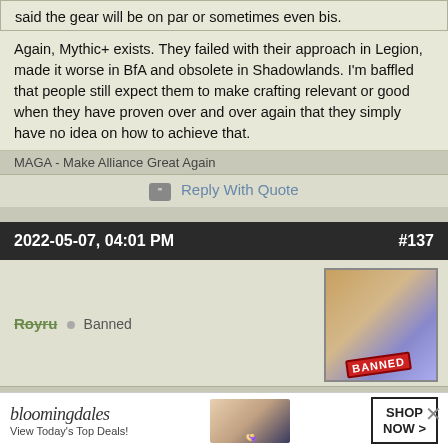said the gear will be on par or sometimes even bis.
Again, Mythic+ exists. They failed with their approach in Legion, made it worse in BfA and obsolete in Shadowlands. I'm baffled that people still expect them to make crafting relevant or good when they have proven over and over again that they simply have no idea on how to achieve that.
MAGA - Make Alliance Great Again
Reply With Quote
2022-05-07, 04:01 PM
#137
Royru  Banned
[Figure (photo): Avatar image with BANNED stamp overlay]
Originally Posted by Nyel
Again, Mythic+ exists. They failed with their approach in Legion, made it worse in BfA and obsolete in Shadowlands. I'm baffled that people still expect them to make crafting relevant or good when they have proven over and over again that they simply have no idea on how to achieve that.
I will rep... ay they haven't... ow this
[Figure (screenshot): Bloomingdale's advertisement banner: 'View Today's Top Deals!' with SHOP NOW button]